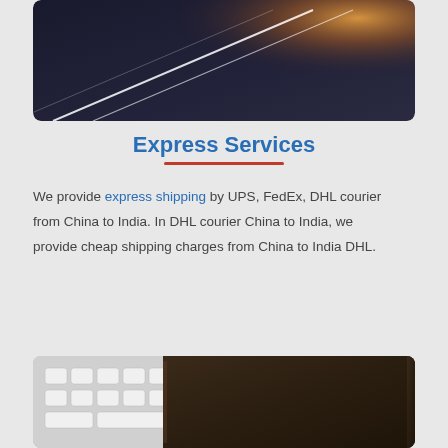[Figure (photo): Abstract photo of a dark surface with diagonal white light streaks, warm light in upper right corner]
Express Services
We provide express shipping by UPS, FedEx, DHL courier from China to India. In DHL courier China to India, we provide cheap shipping charges from China to India DHL.
[Figure (photo): Photo showing a laptop keyboard on the left and a dark leather notebook on a wooden surface on the right]